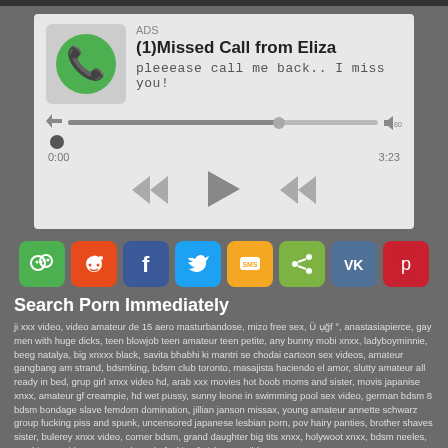[Figure (screenshot): Audio player card showing missed call from Eliza with phone icon, progress bar, time display 0:00 to 3:23, and playback controls]
[Figure (infographic): Row of 8 social sharing buttons: WeChat (green), Reddit (orange-red), Facebook (blue), Twitter (light blue), SMS (orange/yellow), Share (light green), VK (steel blue), Pinterest (red)]
Search Porn Immediately
ji xxx video, video amateur de 15 aero masturbandose, mizo free sex, Ü ụğf °, anastasiapierce, gay men with huge dicks, teen blowjob teen amateur teen petite, any bunny mobi xnxx, ladyboyminnie, beeg natalya, big xnxxx black, savita bhabhi ki mantri se chodai cartoon sex videos, amateur gangbang am strand, bdsmking, bdsm club toronto, masajista haciendo el amor, slutty amateur all ready in bed, grup girl xnxx video hd, arab xxx movies hot boob moms and sister, movis japanise xnxx, amateur gf creampie, hd wet pussy, sunny leone in swimming pool sex video, german bdsm 8 bdsm bondage slave femdom domination, jillian janson missax, young amateur annette schwarz group fucking piss and spunk, uncensored japanese lesbian porn, pov hairy panties, brother shaves sister, bulerey xnxx video, corner bdsm, grand daughter big tits xnxx, holywoot xnxx, bdsm neeles, gavthi xxxx videos, tranny shemale fucking fetish gets wild